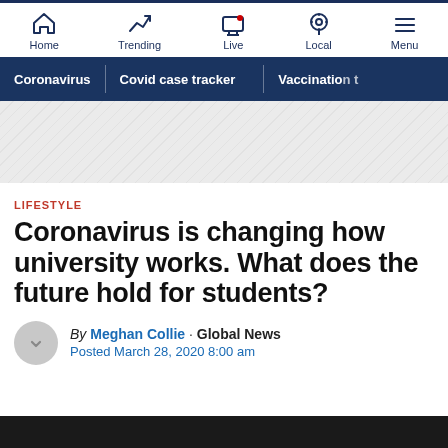Home | Trending | Live | Local | Menu
Coronavirus | Covid case tracker | Vaccination t
[Figure (other): Advertisement/banner diagonal striped area]
LIFESTYLE
Coronavirus is changing how university works. What does the future hold for students?
By Meghan Collie · Global News
Posted March 28, 2020 8:00 am
[Figure (photo): Bottom image strip, partially visible dark image]